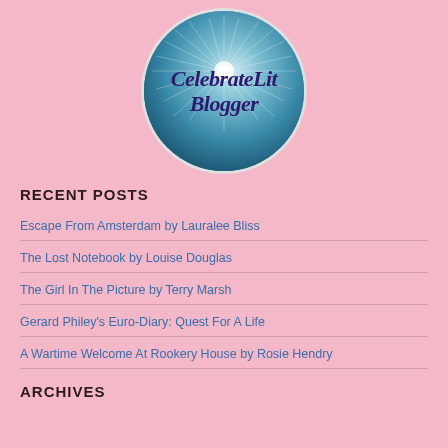[Figure (logo): CelebrateLit Blogger circular logo with dandelion/sparkle background and purple italic text]
RECENT POSTS
Escape From Amsterdam by Lauralee Bliss
The Lost Notebook by Louise Douglas
The Girl In The Picture by Terry Marsh
Gerard Philey's Euro-Diary: Quest For A Life
A Wartime Welcome At Rookery House by Rosie Hendry
ARCHIVES